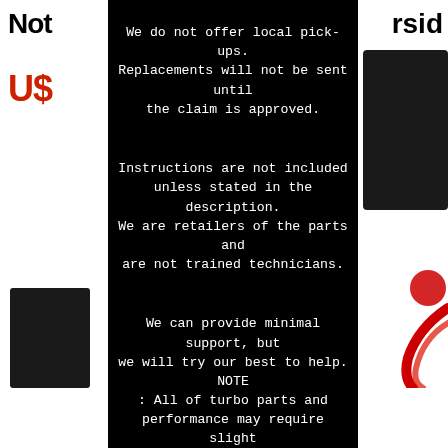We do not offer local pick-ups. Replacements will not be sent until the claim is approved.

Instructions are not included unless stated in the description. We are retailers of the parts and are not trained technicians.

We can provide minimal support, but we will try our best to help. NOTE : All of turbo parts and performance may require slight modification in order to fits perfectly.

Most aftermarket items are produced for off-road or show purpose only. These items are not suitable for regular driving. User must follow the direction given and any misuse of this product is at his/her own risk. The item "2X Pro Racer Spg
[Figure (photo): Partial view of a product listing page showing black automotive parts and a red cable/wire on white background strips on either side of a black text overlay panel.]